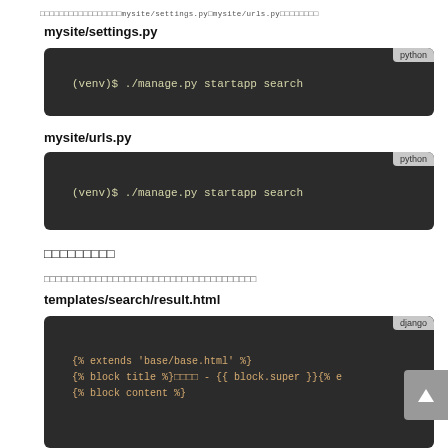□□□□□□□□□□□□□□□□□mysite/settings.py□mysite/urls.py□□□□□□□□
mysite/settings.py
[Figure (screenshot): Dark code block with python label showing: (venv)$ ./manage.py startapp search]
mysite/urls.py
[Figure (screenshot): Dark code block with python label showing: (venv)$ ./manage.py startapp search]
□□□□□□□□□
□□□□□□□□□□□□□□□□□□□□□□□□□□□□□□□□□□□□□
templates/search/result.html
[Figure (screenshot): Dark code block with django label showing: {% extends 'base/base.html' %} and {% block title %}□□□□ - {{ block.super }}{% e and {% block content %}]